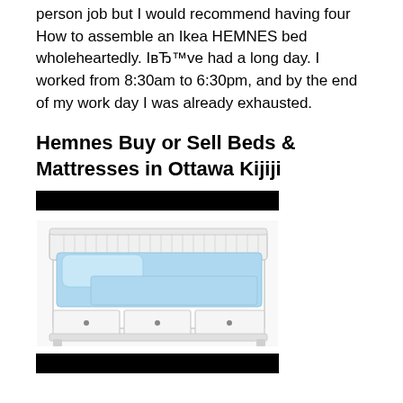person job but I would recommend having four How to assemble an Ikea HEMNES bed wholeheartedly. IвЂ™ve had a long day. I worked from 8:30am to 6:30pm, and by the end of my work day I was already exhausted.
Hemnes Buy or Sell Beds & Mattresses in Ottawa Kijiji
[Figure (other): Black redaction bar at top of listing]
[Figure (photo): Photo of IKEA HEMNES daybed in white with light blue bedding and three storage drawers underneath]
[Figure (other): Black redaction bar at bottom of listing]